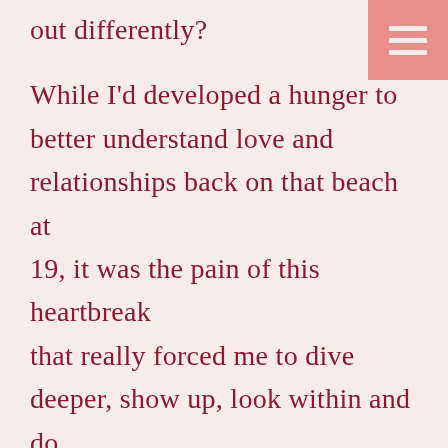out differently?
While I'd developed a hunger to better understand love and relationships back on that beach at 19, it was the pain of this heartbreak that really forced me to dive deeper, show up, look within and do the work.
After much soul seeking, I finally